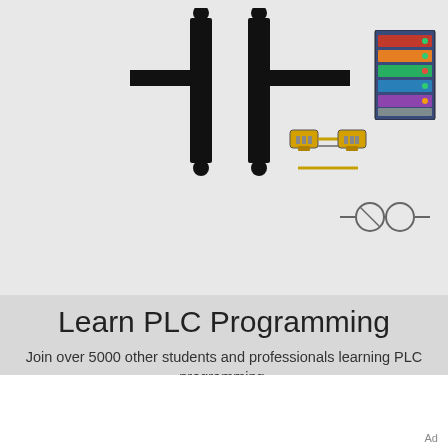[Figure (illustration): PLC ladder logic contact symbol (two vertical bars with crossbar) in black on light gray background, with ethernet cable icon, server rack icon, and electrical coil symbol]
Learn PLC Programming
Join over 5000 other students and professionals learning PLC programming.
One email at a time.
[Figure (screenshot): Green VISIT SITE button with ad controls (play/close icons) to the right]
Arc Flash Labels Available - Made In USA
Ad